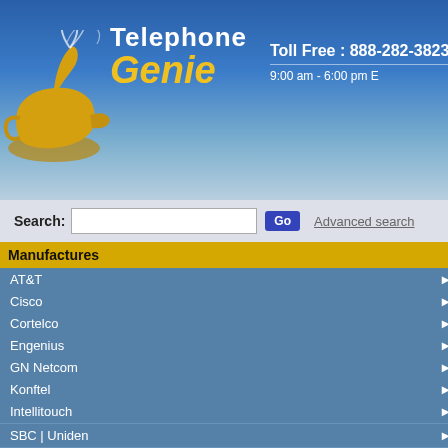Telephone Genie — Toll Free : 888-282-3823 — 9:00 am - 6:00 pm
Search: [input] Go  Advanced search
Manufactures
AT&T
Cisco
Cortelco
Engenius
GN Netcom
Konftel
Intellitouch
SBC | Uniden
Categories
Bargain Deals
TelephoneGenie :: FAQ
FAQ
Frequently Asked Questions
1. What is your return policy?
2. What are your accepted payment...
Will you give or sell my account...
What if I forget my password or m...
What is the cost of shipping?
How long does it take to get my...
How do I check the status of my...